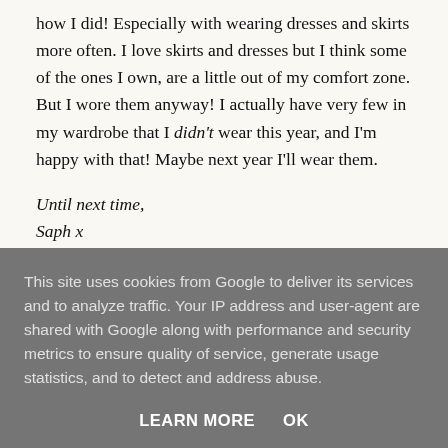how I did! Especially with wearing dresses and skirts more often. I love skirts and dresses but I think some of the ones I own, are a little out of my comfort zone. But I wore them anyway! I actually have very few in my wardrobe that I didn't wear this year, and I'm happy with that! Maybe next year I'll wear them.
Until next time,
Saph x
This site uses cookies from Google to deliver its services and to analyze traffic. Your IP address and user-agent are shared with Google along with performance and security metrics to ensure quality of service, generate usage statistics, and to detect and address abuse.
LEARN MORE   OK